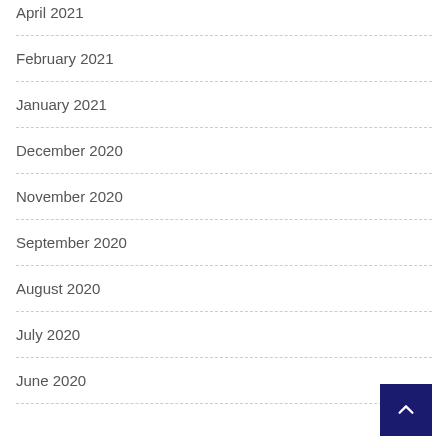April 2021
February 2021
January 2021
December 2020
November 2020
September 2020
August 2020
July 2020
June 2020